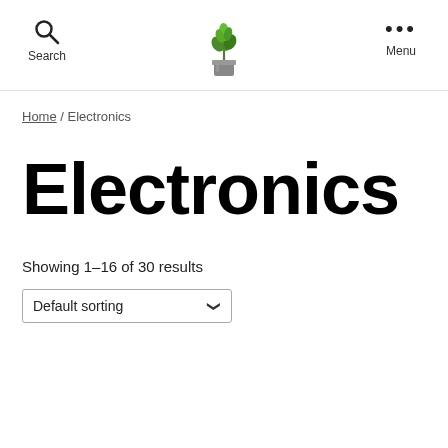Search | [logo plant image] | Menu
Home / Electronics
Electronics
Showing 1–16 of 30 results
Default sorting